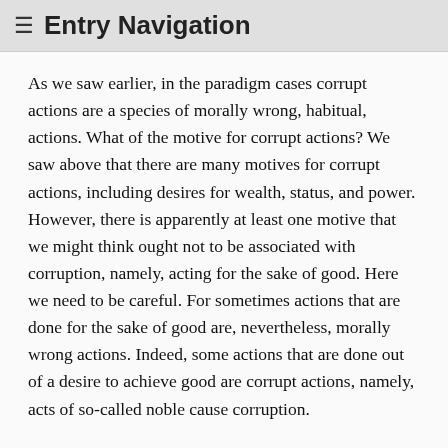≡ Entry Navigation
As we saw earlier, in the paradigm cases corrupt actions are a species of morally wrong, habitual, actions. What of the motive for corrupt actions? We saw above that there are many motives for corrupt actions, including desires for wealth, status, and power. However, there is apparently at least one motive that we might think ought not to be associated with corruption, namely, acting for the sake of good. Here we need to be careful. For sometimes actions that are done for the sake of good are, nevertheless, morally wrong actions. Indeed, some actions that are done out of a desire to achieve good are corrupt actions, namely, acts of so-called noble cause corruption.
This is not the place to provide a detailed treatment of the phenomenon of noble cause corruption.[23] Rather let us simply note that even in cases of noble cause corruption — contra what the person who performs the action thinks — the 'corrupt' action morally ought not to be performed; or at least paradigmatically the 'corrupt' action morally